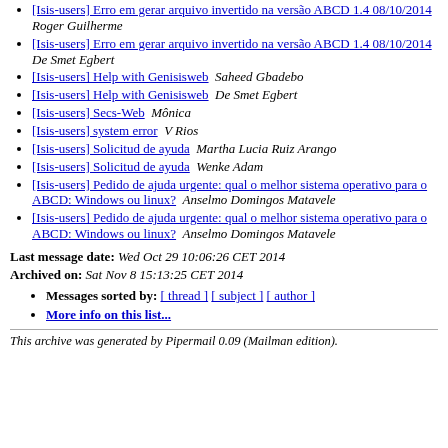[Isis-users] Erro em gerar arquivo invertido na versão ABCD 1.4 08/10/2014  Roger Guilherme
[Isis-users] Erro em gerar arquivo invertido na versão ABCD 1.4 08/10/2014  De Smet Egbert
[Isis-users] Help with Genisisweb  Saheed Gbadebo
[Isis-users] Help with Genisisweb  De Smet Egbert
[Isis-users] Secs-Web  Mônica
[Isis-users] system error  V Rios
[Isis-users] Solicitud de ayuda  Martha Lucia Ruiz Arango
[Isis-users] Solicitud de ayuda  Wenke Adam
[Isis-users] Pedido de ajuda urgente: qual o melhor sistema operativo para o ABCD: Windows ou linux?  Anselmo Domingos Matavele
[Isis-users] Pedido de ajuda urgente: qual o melhor sistema operativo para o ABCD: Windows ou linux?  Anselmo Domingos Matavele
Last message date: Wed Oct 29 10:06:26 CET 2014
Archived on: Sat Nov 8 15:13:25 CET 2014
Messages sorted by: [ thread ] [ subject ] [ author ]
More info on this list...
This archive was generated by Pipermail 0.09 (Mailman edition).